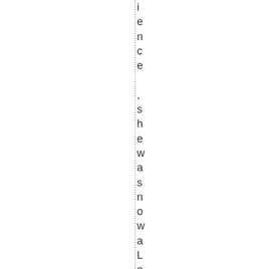ience ,she was now a LevelIPractiti